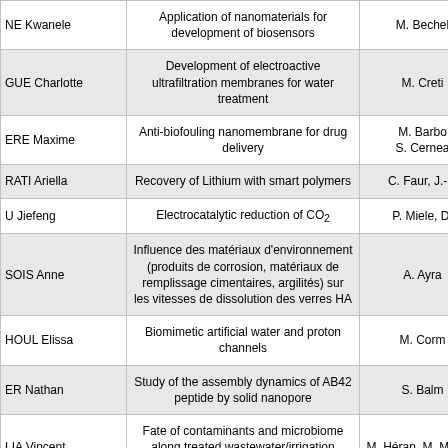| Name | Topic | Supervisor |
| --- | --- | --- |
| NE Kwanele | Application of nanomaterials for development of biosensors | M. Bechel |
| GUE Charlotte | Development of electroactive ultrafiltration membranes for water treatment | M. Creti |
| ERE Maxime | Anti-biofouling nanomembrane for drug delivery | M. Barbo, S. Cernea |
| RATI Ariella | Recovery of Lithium with smart polymers | C. Faur, J.-P. |
| U Jiefeng | Electrocatalytic reduction of CO₂ | P. Miele, D. |
| SOIS Anne | Influence des matériaux d'environnement (produits de corrosion, matériaux de remplissage cimentaires, argilités) sur les vitesses de dissolution des verres HA | A. Ayra |
| HOUL Elissa | Biomimetic artificial water and proton channels | M. Corm |
| ER Nathan | Study of the assembly dynamics of AB42 peptide by solid nanopore | S. Balm |
| LIA Vincent | Fate of contaminants and microbiome along treated wastewater/irrigation system/soil continuum | M. Héran, M. Mouhel |
| ... | ... | ... |